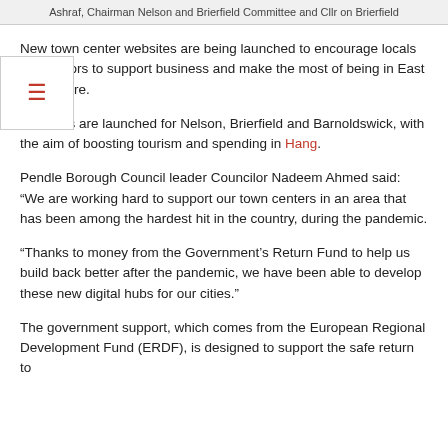Ashraf, Chairman Nelson and Brierfield Committee and Cllr on Brierfield
New town center websites are being launched to encourage locals and visitors to support business and make the most of being in East Lancashire.
Websites are launched for Nelson, Brierfield and Barnoldswick, with the aim of boosting tourism and spending in Hang.
Pendle Borough Council leader Councilor Nadeem Ahmed said: “We are working hard to support our town centers in an area that has been among the hardest hit in the country, during the pandemic.
“Thanks to money from the Government’s Return Fund to help us build back better after the pandemic, we have been able to develop these new digital hubs for our cities.”
The government support, which comes from the European Regional Development Fund (ERDF), is designed to support the safe return to